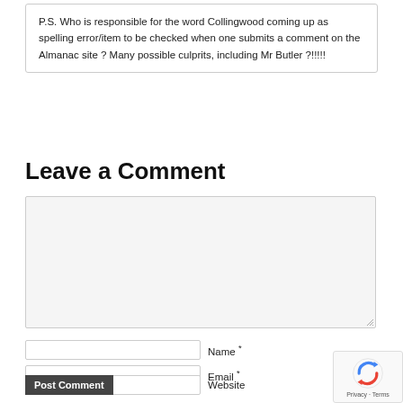P.S. Who is responsible for the word Collingwood coming up as spelling error/item to be checked when one submits a comment on the Almanac site ? Many possible culprits, including Mr Butler ?!!!!!
Leave a Comment
[Figure (screenshot): Large empty text area input box for comment]
Name *
Email *
Website
Post Comment
[Figure (logo): reCAPTCHA badge with circular arrow logo and Privacy · Terms text]